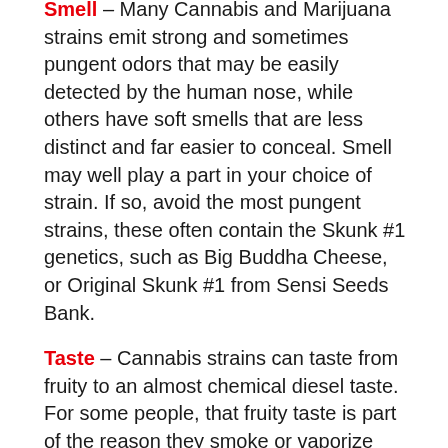Smell – Many Cannabis and Marijuana strains emit strong and sometimes pungent odors that may be easily detected by the human nose, while others have soft smells that are less distinct and far easier to conceal. Smell may well play a part in your choice of strain. If so, avoid the most pungent strains, these often contain the Skunk #1 genetics, such as Big Buddha Cheese, or Original Skunk #1 from Sensi Seeds Bank.
Taste – Cannabis strains can taste from fruity to an almost chemical diesel taste. For some people, that fruity taste is part of the reason they smoke or vaporize cannabis, while others enjoy the more diesel flavors. It all depends upon a person's own personal preferences and individual tastes.
Size and Height – Many Cannabis and Marijuana plants grow quite tall, with some Sativa strains reaching 1.5 meters indoors, and tree-like proportions outdoors. Whilst others are more compact and stockier, these are usually the more Indica Cannabis and Marijuana strains. Tall,